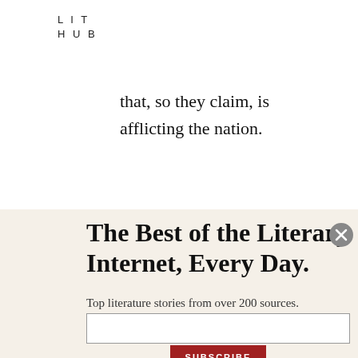LIT
HUB
that, so they claim, is afflicting the nation.
The Best of the Literary Internet, Every Day.
Top literature stories from over 200 sources.